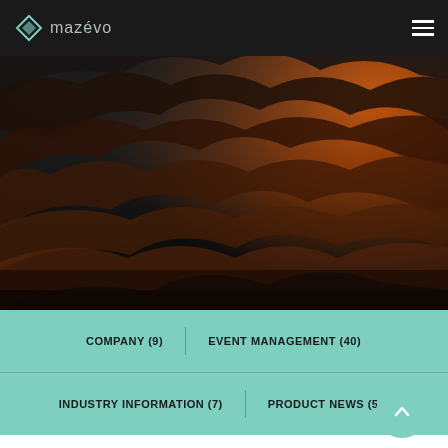mazévo [logo and navigation bar]
[Figure (photo): Dramatic stormy sky with dark clouds and orange/amber glow on the right side, used as hero background image for the Mazévo Blog page]
MAZÉVO BLOG
COMPANY (9)
EVENT MANAGEMENT (40)
INDUSTRY INFORMATION (7)
PRODUCT NEWS (54)